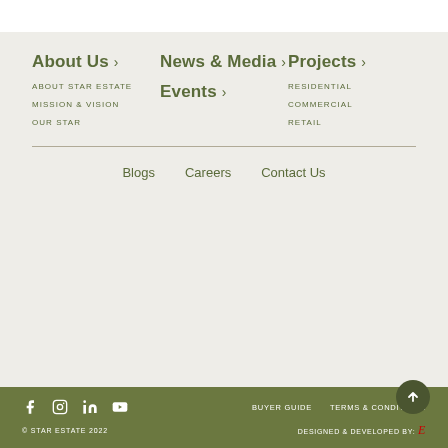About Us >
ABOUT STAR ESTATE
MISSION & VISION
OUR STAR
News & Media >
Events >
Projects >
RESIDENTIAL
COMMERCIAL
RETAIL
Blogs
Careers
Contact Us
BUYER GUIDE   TERMS & CONDITIONS   © STAR ESTATE 2022   DESIGNED & DEVELOPED BY: e